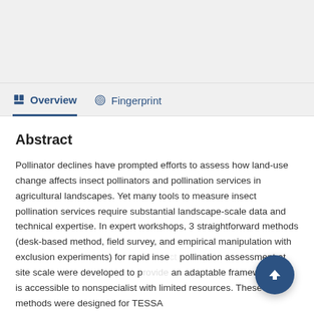Overview   Fingerprint
Abstract
Pollinator declines have prompted efforts to assess how land-use change affects insect pollinators and pollination services in agricultural landscapes. Yet many tools to measure insect pollination services require substantial landscape-scale data and technical expertise. In expert workshops, 3 straightforward methods (desk-based method, field survey, and empirical manipulation with exclusion experiments) for rapid insect pollination assessment at site scale were developed to provide an adaptable framework that is accessible to nonspecialist with limited resources. These methods were designed for TESSA